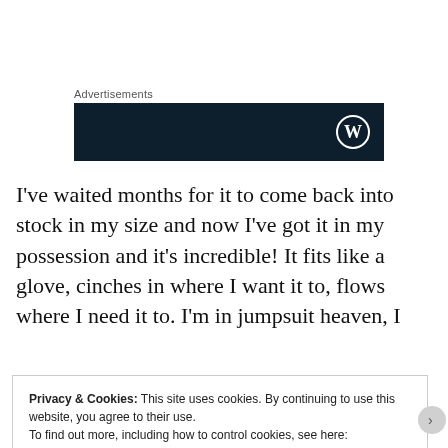Advertisements
[Figure (logo): Dark navy advertisement banner with WordPress logo (W in circle) on the right side]
I've waited months for it to come back into stock in my size and now I've got it in my possession and it's incredible! It fits like a glove, cinches in where I want it to, flows where I need it to. I'm in jumpsuit heaven, I
Privacy & Cookies: This site uses cookies. By continuing to use this website, you agree to their use.
To find out more, including how to control cookies, see here:
Cookie Policy
Close and accept